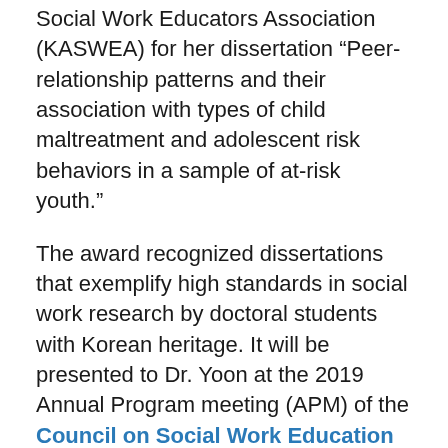Social Work Educators Association (KASWEA) for her dissertation “Peer-relationship patterns and their association with types of child maltreatment and adolescent risk behaviors in a sample of at-risk youth.”
The award recognized dissertations that exemplify high standards in social work research by doctoral students with Korean heritage. It will be presented to Dr. Yoon at the 2019 Annual Program meeting (APM) of the Council on Social Work Education (CSWE) in Denver on October 24-27.
"This is a well-deserved honor for one of our doctoral alumni," said Sonia Minnes, PhD, Professor and Chair of the Doctoral